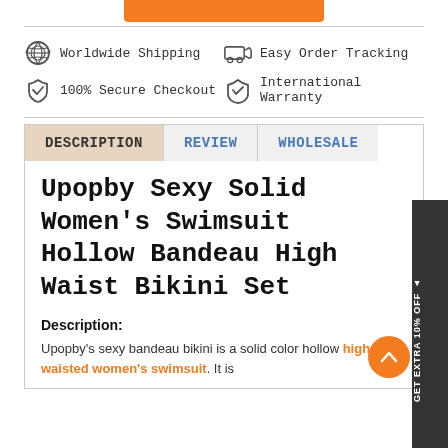[Figure (other): Orange button/bar at top center]
Worldwide Shipping
Easy Order Tracking
International Warranty
100% Secure Checkout
EXTRA 10% OFF (side tab)
DESCRIPTION | REVIEW | WHOLESALE
Upopby Sexy Solid Women's Swimsuit Hollow Bandeau High Waist Bikini Set
Description:
Upopby's sexy bandeau bikini is a solid color hollow high-waisted women's swimsuit. It is